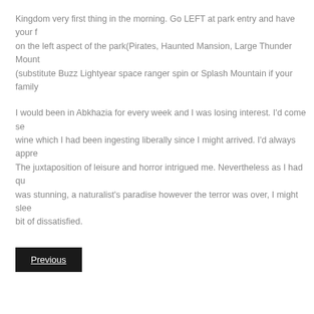Kingdom very first thing in the morning. Go LEFT at park entry and have your f on the left aspect of the park(Pirates, Haunted Mansion, Large Thunder Mount (substitute Buzz Lightyear space ranger spin or Splash Mountain if your family
I would been in Abkhazia for every week and I was losing interest. I'd come sea wine which I had been ingesting liberally since I might arrived. I'd always appre The juxtaposition of leisure and horror intrigued me. Nevertheless as I had qu was stunning, a naturalist's paradise however the terror was over, I might slee bit of dissatisfied.
Previous
Contact Us
Sitemap
Advertise Here